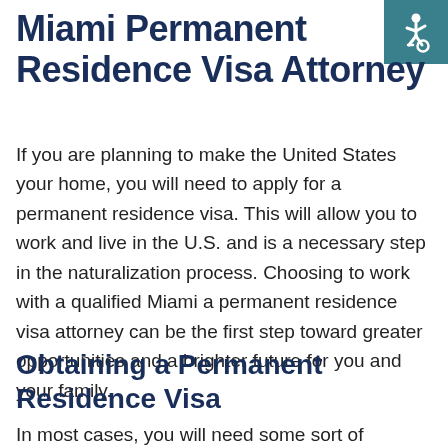Miami Permanent Residence Visa Attorney
[Figure (illustration): Wheelchair accessibility icon in a teal/dark cyan square background, top-right corner]
If you are planning to make the United States your home, you will need to apply for a permanent residence visa. This will allow you to work and live in the U.S. and is a necessary step in the naturalization process. Choosing to work with a qualified Miami a permanent residence visa attorney can be the first step toward greater opportunities and a brighter future for you and your family.
Obtaining a Permanent Residence Visa
In most cases, you will need some sort of